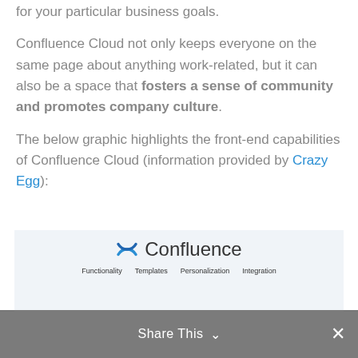for your particular business goals.
Confluence Cloud not only keeps everyone on the same page about anything work-related, but it can also be a space that fosters a sense of community and promotes company culture.
The below graphic highlights the front-end capabilities of Confluence Cloud (information provided by Crazy Egg):
[Figure (screenshot): Partial screenshot of a Confluence Cloud infographic showing the Confluence logo and navigation tabs: Functionality, Templates, Personalization, Integration]
Share This ∨ ✕